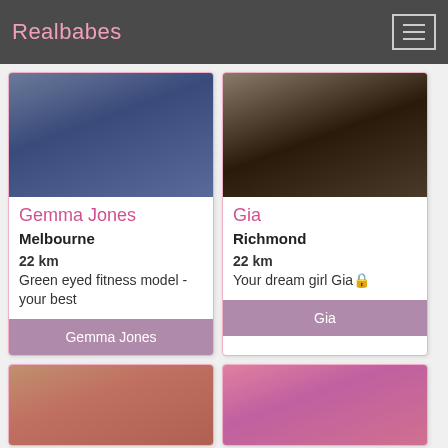Realbabes
[Figure (photo): Photo of Gemma Jones]
Gemma Jones
Melbourne
22 km
Green eyed fitness model - your best
Gemma Jones
[Figure (photo): Photo of Gia]
Gia
Richmond
22 km
Your dream girl Gia🔒
Gia
[Figure (photo): Photo of third profile (partial, red bikini)]
[Figure (photo): Photo of fourth profile (partial, pink lingerie)]